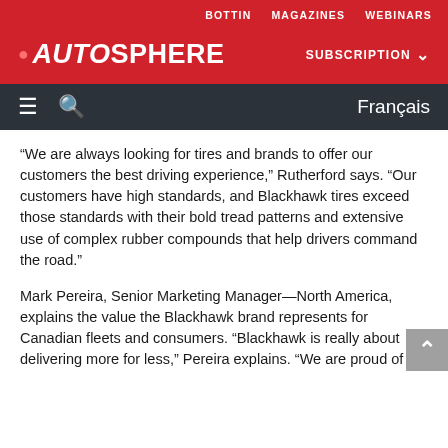BOTTIN   MAGAZINES   WEBINARS
AUTOSPHERE   SUBSCRIPTION
≡  🔍  Français
“We are always looking for tires and brands to offer our customers the best driving experience,” Rutherford says. “Our customers have high standards, and Blackhawk tires exceed those standards with their bold tread patterns and extensive use of complex rubber compounds that help drivers command the road.”
Mark Pereira, Senior Marketing Manager—North America, explains the value the Blackhawk brand represents for Canadian fleets and consumers. “Blackhawk is really about delivering more for less,” Pereira explains. “We are proud of